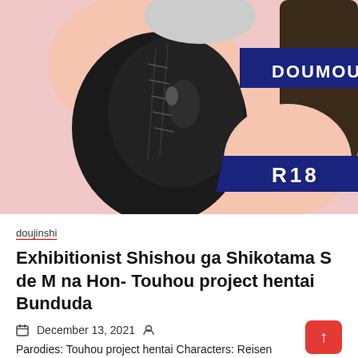[Figure (illustration): Anime/manga style illustration showing characters in black outfit with 'DOUMOU' and 'R18' banners on blue diagonal stripes]
doujinshi
Exhibitionist Shishou ga Shikotama S de M na Hon- Touhou project hentai Bunduda
December 13, 2021
Parodies: Touhou project hentai Characters: Reisen